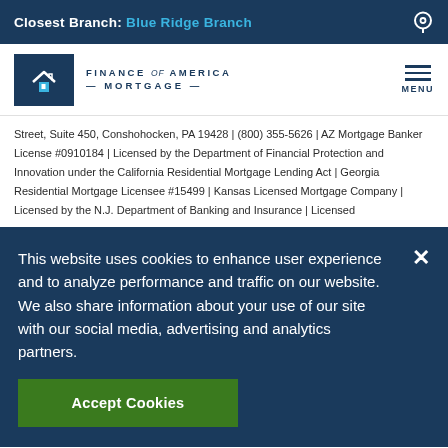Closest Branch: Blue Ridge Branch
[Figure (logo): Finance of America Mortgage logo with house icon on dark blue background]
Street, Suite 450, Conshohocken, PA 19428 | (800) 355-5626 | AZ Mortgage Banker License #0910184 | Licensed by the Department of Financial Protection and Innovation under the California Residential Mortgage Lending Act | Georgia Residential Mortgage Licensee #15499 | Kansas Licensed Mortgage Company | Licensed by the N.J. Department of Banking and Insurance | Licensed
This website uses cookies to enhance user experience and to analyze performance and traffic on our website. We also share information about your use of our site with our social media, advertising and analytics partners.
Accept Cookies